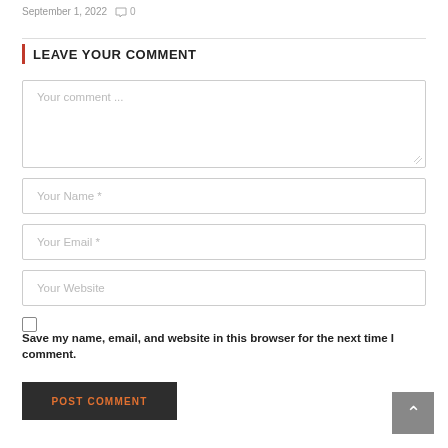September 1, 2022  0
LEAVE YOUR COMMENT
Your comment ...
Your Name *
Your Email *
Your Website
Save my name, email, and website in this browser for the next time I comment.
POST COMMENT